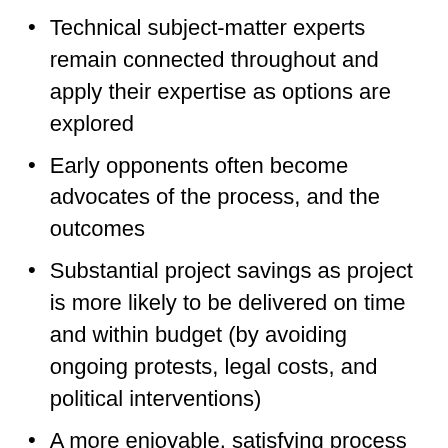Technical subject-matter experts remain connected throughout and apply their expertise as options are explored
Early opponents often become advocates of the process, and the outcomes
Substantial project savings as project is more likely to be delivered on time and within budget (by avoiding ongoing protests, legal costs, and political interventions)
A more enjoyable, satisfying process for all concerned (even despite some inevitable challenges as people learn to work together)